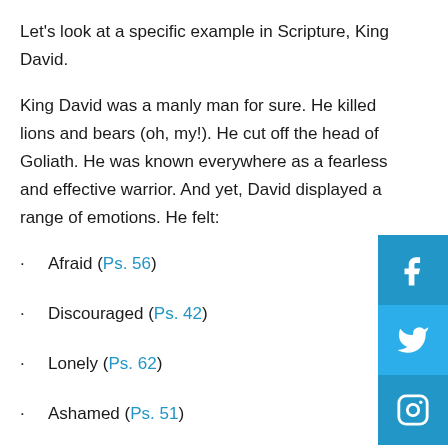Let's look at a specific example in Scripture, King David.
King David was a manly man for sure. He killed lions and bears (oh, my!). He cut off the head of Goliath. He was known everywhere as a fearless and effective warrior. And yet, David displayed a range of emotions. He felt:
Afraid (Ps. 56)
Discouraged (Ps. 42)
Lonely (Ps. 62)
Ashamed (Ps. 51)